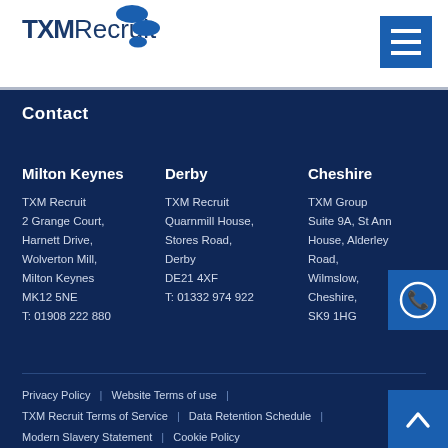[Figure (logo): TXM Recruit logo with blue ellipse dots]
Contact
Milton Keynes
TXM Recruit
2 Grange Court,
Harnett Drive,
Wolverton Mill,
Milton Keynes
MK12 5NE
T: 01908 222 880
Derby
TXM Recruit
Quarnmill House,
Stores Road,
Derby
DE21 4XF
T: 01332 974 922
Cheshire
TXM Group
Suite 9A, St Ann House, Alderley Road,
Wilmslow,
Cheshire,
SK9 1HG
Privacy Policy | Website Terms of use | TXM Recruit Terms of Service | Data Retention Schedule | Modern Slavery Statement | Cookie Policy